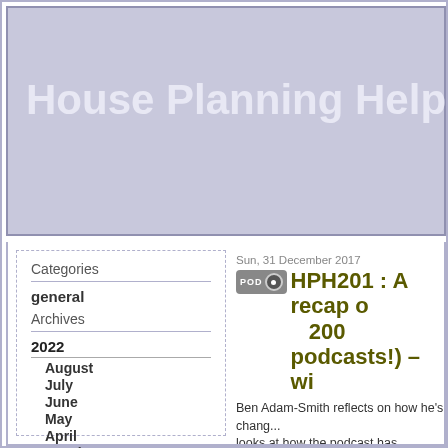House Planning Help Podcast
Categories
general
Archives
2022
August
July
June
May
April
March
February
January
2021
December
November
October
September
August
Sun, 31 December 2017
HPH201 : A recap of 200 podcasts!) – wi...
Ben Adam-Smith reflects on how he's changed... looks at how the podcast has changed with h...
Check out the show notes for more informa...
Direct download: HPH201.mp3
Category:general -- posted at: 6:00pm UTC
Tue, 26 December 2017
HPH200 : 20 Self bu... with Ben Adam-Smi...
Ben Adam-Smith shares 20 insights about s... tackling his own project.
Check out the show notes for more informa...
Direct download: HPH200.mp3
Category:general -- posted at: 3:13pm UTC